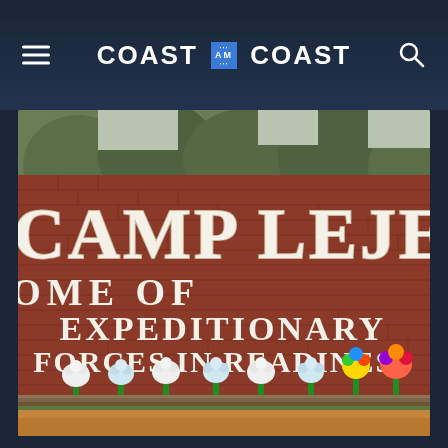COAST TO COAST AM
[Figure (photo): Photo of the Camp Lejeune entrance sign — a brick wall with white letters reading 'CAMP LEJEUNE HOME OF EXPEDITIONARY FORCES IN READINESS', with flower bouquets placed along the base of the wall, trees visible in the background.]